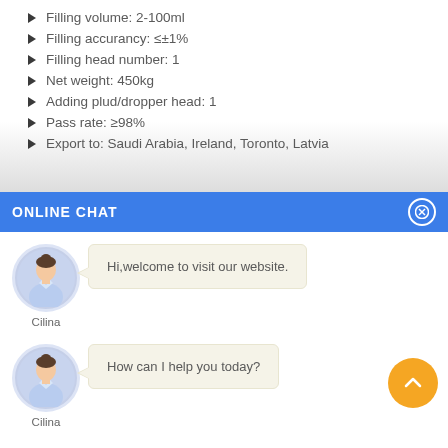Filling volume: 2-100ml
Filling accurancy: ≤±1%
Filling head number: 1
Net weight: 450kg
Adding plud/dropper head: 1
Pass rate: ≥98%
Export to: Saudi Arabia, Ireland, Toronto, Latvia
ONLINE CHAT
[Figure (screenshot): Online chat widget with avatar of representative named Cilina and two chat messages: 'Hi,welcome to visit our website.' and 'How can I help you today?']